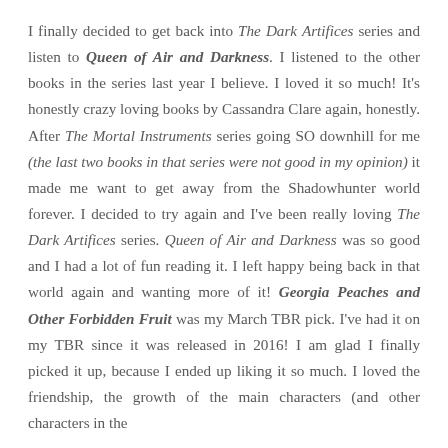I finally decided to get back into The Dark Artifices series and listen to Queen of Air and Darkness. I listened to the other books in the series last year I believe. I loved it so much! It's honestly crazy loving books by Cassandra Clare again, honestly. After The Mortal Instruments series going SO downhill for me (the last two books in that series were not good in my opinion) it made me want to get away from the Shadowhunter world forever. I decided to try again and I've been really loving The Dark Artifices series. Queen of Air and Darkness was so good and I had a lot of fun reading it. I left happy being back in that world again and wanting more of it! Georgia Peaches and Other Forbidden Fruit was my March TBR pick. I've had it on my TBR since it was released in 2016! I am glad I finally picked it up, because I ended up liking it so much. I loved the friendship, the growth of the main characters (and other characters in the